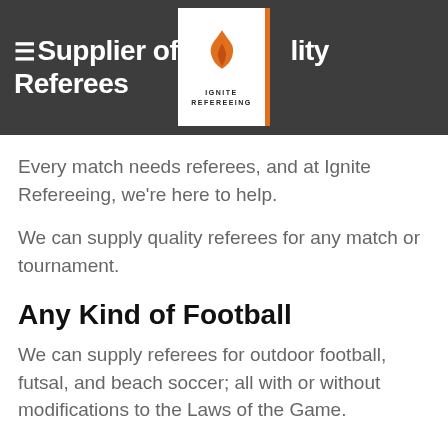Supplier of Quality Referees
[Figure (logo): Ignite Refereeing logo with flame icon and orange bar]
Every match needs referees, and at Ignite Refereeing, we're here to help.
We can supply quality referees for any match or tournament.
Any Kind of Football
We can supply referees for outdoor football, futsal, and beach soccer; all with or without modifications to the Laws of the Game.
Hassle-Free Referees